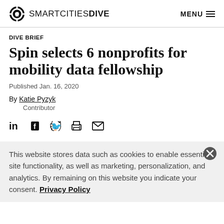SMARTCITIES DIVE  MENU
DIVE BRIEF
Spin selects 6 nonprofits for mobility data fellowship
Published Jan. 16, 2020
By Katie Pyzyk
Contributor
This website stores data such as cookies to enable essential site functionality, as well as marketing, personalization, and analytics. By remaining on this website you indicate your consent. Privacy Policy